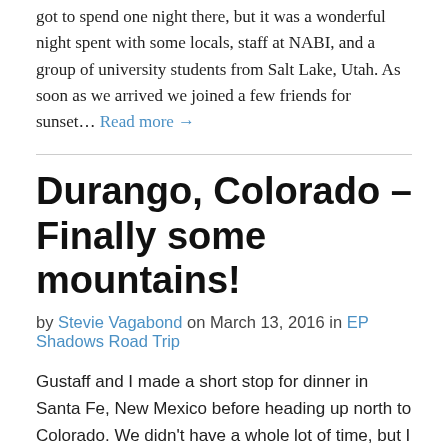got to spend one night there, but it was a wonderful night spent with some locals, staff at NABI, and a group of university students from Salt Lake, Utah. As soon as we arrived we joined a few friends for sunset… Read more →
Durango, Colorado – Finally some mountains!
by Stevie Vagabond on March 13, 2016 in EP Shadows Road Trip
Gustaff and I made a short stop for dinner in Santa Fe, New Mexico before heading up north to Colorado. We didn't have a whole lot of time, but I got to have a brief look at Santa Fe's downtown and it's Latin influence. For dinner I had a beef burrito with really spicy green chili.